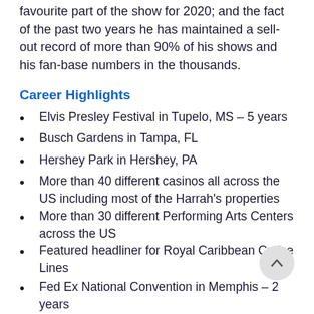favourite part of the show for 2020; and the fact of the past two years he has maintained a sell-out record of more than 90% of his shows and his fan-base numbers in the thousands.
Career Highlights
Elvis Presley Festival in Tupelo, MS – 5 years
Busch Gardens in Tampa, FL
Hershey Park in Hershey, PA
More than 40 different casinos all across the US including most of the Harrah's properties
More than 30 different Performing Arts Centers across the US
Featured headliner for Royal Caribbean Cruise Lines
Fed Ex National Convention in Memphis – 2 years
International Hot Rod Association National Convention in Louisville, KY – 2 years
Oregon Jamboree in – 2 years